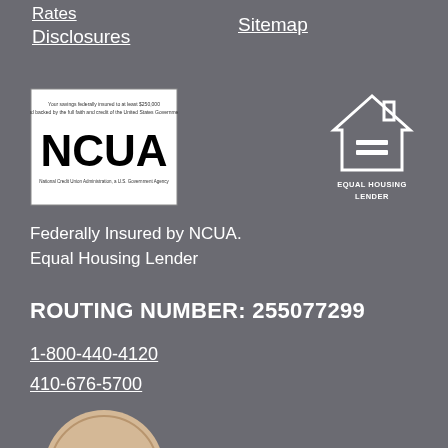Rates
Disclosures
Sitemap
[Figure (logo): NCUA logo — National Credit Union Administration, a U.S. Government Agency, with text 'Your savings federally insured to at least $250,000 and backed by the full faith and credit of the United States Government']
[Figure (logo): Equal Housing Lender logo — house icon with equals sign, text EQUAL HOUSING LENDER]
Federally Insured by NCUA.
Equal Housing Lender
ROUTING NUMBER: 255077299
1-800-440-4120
410-676-5700
[Figure (logo): Harford Magazine badge/seal logo (partially visible at bottom)]